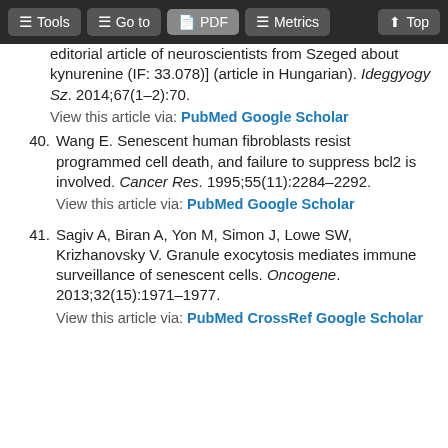Tools | Go to | PDF | Metrics | Top
editorial article of neuroscientists from Szeged about kynurenine (IF: 33.078)] (article in Hungarian). Ideggyogy Sz. 2014;67(1–2):70. View this article via: PubMed Google Scholar
40. Wang E. Senescent human fibroblasts resist programmed cell death, and failure to suppress bcl2 is involved. Cancer Res. 1995;55(11):2284–2292. View this article via: PubMed Google Scholar
41. Sagiv A, Biran A, Yon M, Simon J, Lowe SW, Krizhanovsky V. Granule exocytosis mediates immune surveillance of senescent cells. Oncogene. 2013;32(15):1971–1977. View this article via: PubMed CrossRef Google Scholar